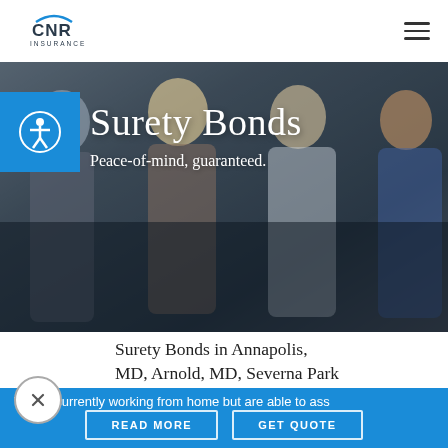[Figure (logo): CNR Insurance logo with arc above text]
[Figure (photo): Hero banner photo of four smiling young professionals wearing aprons in a restaurant/cafe setting, with dark overlay]
Surety Bonds
Peace-of-mind, guaranteed.
Surety Bonds in Annapolis, MD, Arnold, MD, Severna Park
Ve are currently working from home but are able to ass
READ MORE
GET QUOTE